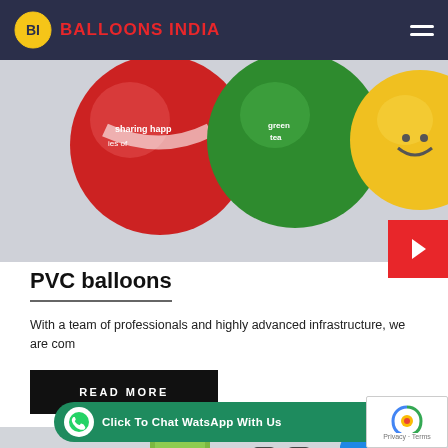BALLOONS INDIA
[Figure (photo): Promotional branded balloons including Coca-Cola red balloon, green Sprite/tea balloon, and yellow smiley balloon against light grey background]
PVC balloons
With a team of professionals and highly advanced infrastructure, we are com
READ MORE
[Figure (photo): Inflatable promotional items including green foam finger, black inflatable clappers, and blue fencing/clapper sticks against grey background]
Click To Chat WatsApp With Us